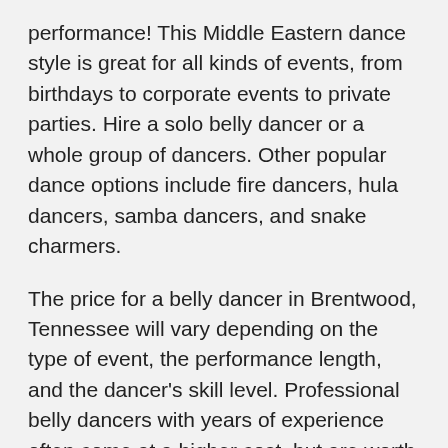performance! This Middle Eastern dance style is great for all kinds of events, from birthdays to corporate events to private parties. Hire a solo belly dancer or a whole group of dancers. Other popular dance options include fire dancers, hula dancers, samba dancers, and snake charmers.
The price for a belly dancer in Brentwood, Tennessee will vary depending on the type of event, the performance length, and the dancer's skill level. Professional belly dancers with years of experience often come at a higher cost, but are worth every penny! Contact local belly dancers to get a quote that's customized for your event.
While browsing profiles for Brentwood belly dancers, look through photos and watch videos of their past performances to make sure you like their look and style. Read reviews from other event planners to see what experience they have with events like yours. When talking with the dancers, go over important details like space requirements, performance times and breaks, attire, and any